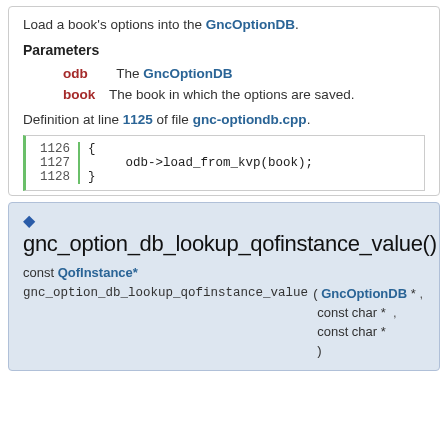Load a book's options into the GncOptionDB.
Parameters
odb  The GncOptionDB
book  The book in which the options are saved.
Definition at line 1125 of file gnc-optiondb.cpp.
[Figure (screenshot): Code block showing lines 1126-1128: { odb->load_from_kvp(book); }]
gnc_option_db_lookup_qofinstance_value()
const QofInstance* gnc_option_db_lookup_qofinstance_value ( GncOptionDB *, const char *, const char *